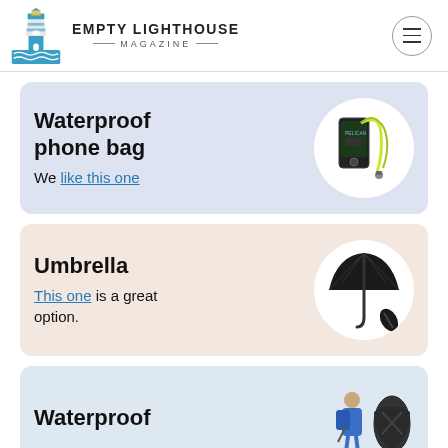EMPTY LIGHTHOUSE MAGAZINE
Waterproof phone bag — We like this one
Umbrella — This one is a great option.
Waterproof (partially visible)